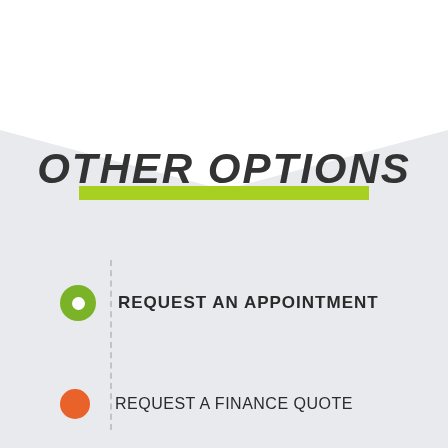[Figure (illustration): Decorative chevron/envelope shape at top of page in light gray]
OTHER OPTIONS
REQUEST AN APPOINTMENT
REQUEST A FINANCE QUOTE